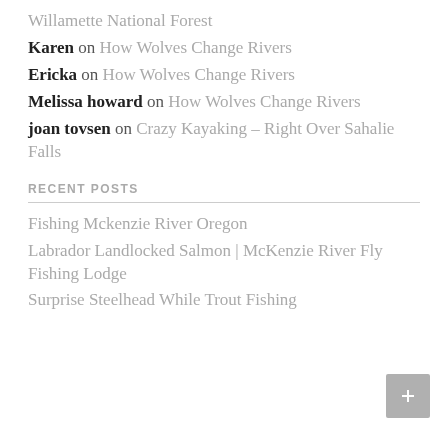Willamette National Forest
Karen on How Wolves Change Rivers
Ericka on How Wolves Change Rivers
Melissa howard on How Wolves Change Rivers
joan tovsen on Crazy Kayaking – Right Over Sahalie Falls
RECENT POSTS
Fishing Mckenzie River Oregon
Labrador Landlocked Salmon | McKenzie River Fly Fishing Lodge
Surprise Steelhead While Trout Fishing